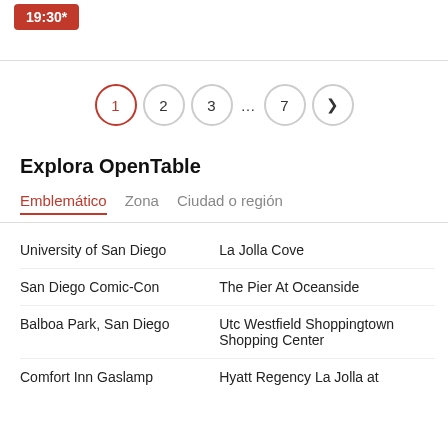19:30*
[Figure (other): Pagination controls showing pages 1 (active/selected in red circle), 2, 3, ..., 7, and a next arrow]
Explora OpenTable
Emblemático   Zona   Ciudad o región
University of San Diego
La Jolla Cove
San Diego Comic-Con
The Pier At Oceanside
Balboa Park, San Diego
Utc Westfield Shoppingtown Shopping Center
Comfort Inn Gaslamp
Hyatt Regency La Jolla at